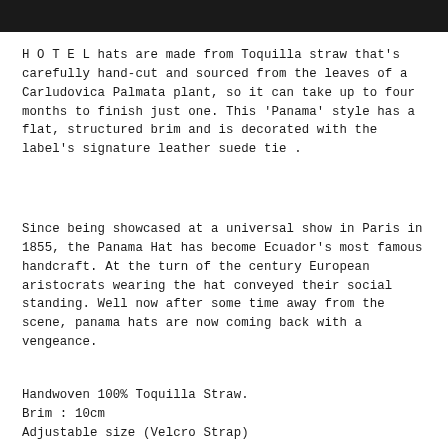[Figure (photo): Black image/photo bar at top of page]
H O T E L hats are made from Toquilla straw that's carefully hand-cut and sourced from the leaves of a Carludovica Palmata plant, so it can take up to four months to finish just one. This 'Panama' style has a flat, structured brim and is decorated with the label's signature leather suede tie .
Since being showcased at a universal show in Paris in 1855, the Panama Hat has become Ecuador’s most famous handcraft. At the turn of the century European aristocrats wearing the hat conveyed their social standing. Well now after some time away from the scene, panama hats are now coming back with a vengeance.
Handwoven 100% Toquilla Straw.
Brim : 10cm
Adjustable size (Velcro Strap)